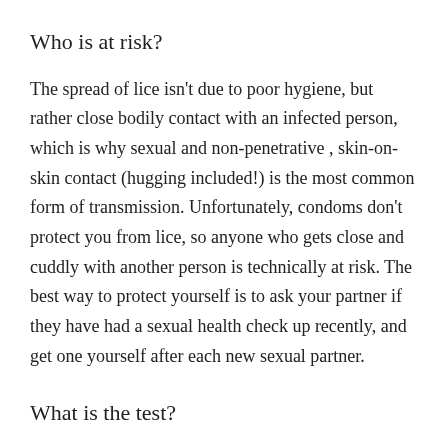Who is at risk?
The spread of lice isn't due to poor hygiene, but rather close bodily contact with an infected person, which is why sexual and non-penetrative , skin-on-skin contact (hugging included!) is the most common form of transmission. Unfortunately, condoms don't protect you from lice, so anyone who gets close and cuddly with another person is technically at risk. The best way to protect yourself is to ask your partner if they have had a sexual health check up recently, and get one yourself after each new sexual partner.
What is the test?